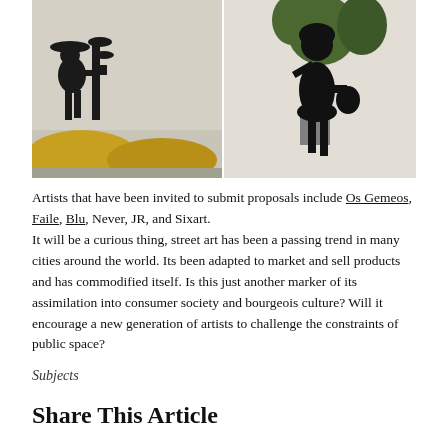[Figure (photo): Two side-by-side street art images: left shows a silhouette of a girl in a wide-brimmed hat watering a plant with yellow flowers at the base; right shows a silhouette of a girl holding a basket, painted on a white brick wall with plants in background.]
Artists that have been invited to submit proposals include Os Gemeos, Faile, Blu, Never, JR, and Sixart. It will be a curious thing, street art has been a passing trend in many cities around the world. Its been adapted to market and sell products and has commodified itself. Is this just another marker of its assimilation into consumer society and bourgeois culture? Will it encourage a new generation of artists to challenge the constraints of public space?
Subjects
Share This Article